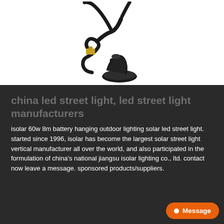[Figure (photo): Photo of a black magnetic base antenna with cable and SMA connector on white background]
china led street light, led street light manufacturers
isolar 60w 8m battery hanging outdoor lighting solar led street light. started since 1996, isolar has become the largest solar street light vertical manufacturer all over the world, and also participated in the formulation of china's national jiangsu isolar lighting co., ltd. contact now leave a message. sponsored products/suppliers.